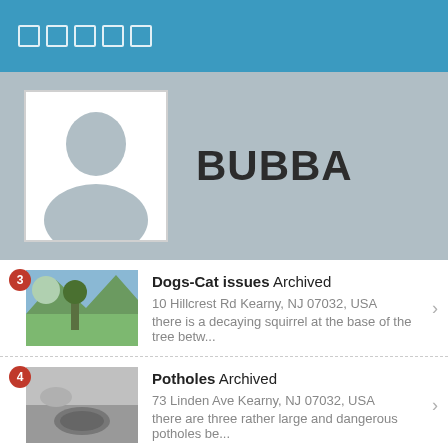□□□□□
[Figure (illustration): User profile banner with grey background, avatar silhouette placeholder image on left, and username BUBBA in large bold text on right]
Dogs-Cat issues Archived
10 Hillcrest Rd Kearny, NJ 07032, USA
there is a decaying squirrel at the base of the tree betw...
Potholes Archived
73 Linden Ave Kearny, NJ 07032, USA
there are three rather large and dangerous potholes be...
Unlisted items Archived